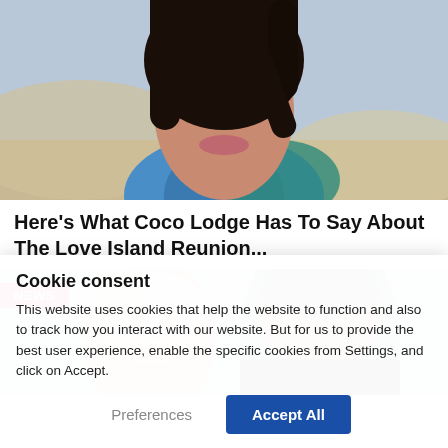[Figure (photo): Woman with dark hair at beach wearing blue patterned shirt, selfie style, sand in background]
Here's What Coco Lodge Has To Say About The Love Island Reunion...
[Figure (photo): NEWS badge overlay on photo of a woman with light hair and a man, couple outdoors with overcast sky]
Cookie consent
This website uses cookies that help the website to function and also to track how you interact with our website. But for us to provide the best user experience, enable the specific cookies from Settings, and click on Accept.
Preferences
Accept All